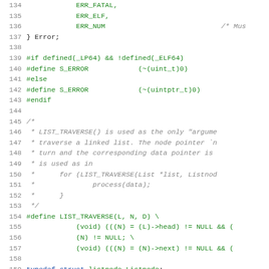[Figure (screenshot): Source code listing in C showing lines 134-163, with line numbers in grey, keywords in blue, and preprocessor/identifiers in green on white background.]